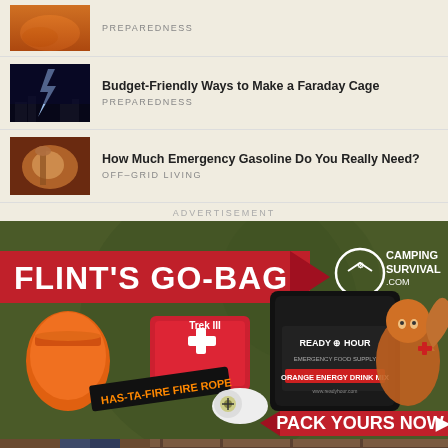[Figure (photo): Article thumbnail - orange/fire colored image]
PREPAREDNESS
[Figure (photo): Article thumbnail - lightning storm at night]
Budget-Friendly Ways to Make a Faraday Cage
PREPAREDNESS
[Figure (photo): Article thumbnail - close-up of hands/tool]
How Much Emergency Gasoline Do You Really Need?
OFF-GRID LIVING
ADVERTISEMENT
[Figure (infographic): Camping Survival advertisement banner for Flint's Go-Bag featuring survival gear including Trek III first aid kit, Ready Hour orange energy drink mix, fire rope, compass whistle, and cartoon squirrel mascot. Text: FLINT'S GO-BAG, CAMPING SURVIVAL .COM, PACK YOURS NOW]
[Figure (photo): Bottom strip - partial image of person and wooden structure]